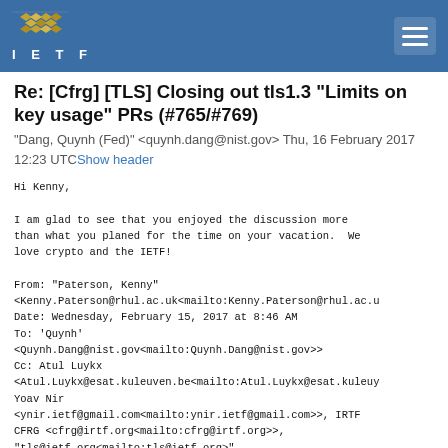IETF
Re: [Cfrg] [TLS] Closing out tls1.3 "Limits on key usage" PRs (#765/#769)
"Dang, Quynh (Fed)" <quynh.dang@nist.gov> Thu, 16 February 2017 12:23 UTCShow header
Hi Kenny,

I am glad to see that you enjoyed the discussion more
than what you planed for the time on your vacation.  We
love crypto and the IETF!

From: "Paterson, Kenny"
<Kenny.Paterson@rhul.ac.uk<mailto:Kenny.Paterson@rhul.ac.u
Date: Wednesday, February 15, 2017 at 8:46 AM
To: 'Quynh'
<Quynh.Dang@nist.gov<mailto:Quynh.Dang@nist.gov>>
Cc: Atul Luykx
<Atul.Luykx@esat.kuleuven.be<mailto:Atul.Luykx@kuleuy
Yoav Nir
<ynir.ietf@gmail.com<mailto:ynir.ietf@gmail.com>>, IRTF
CFRG <cfrg@irtf.org<mailto:cfrg@irtf.org>>,
"tls@ietf.org<mailto:tls@ietf.org>"
<tls@ietf.org<mailto:tls@ietf.org>>